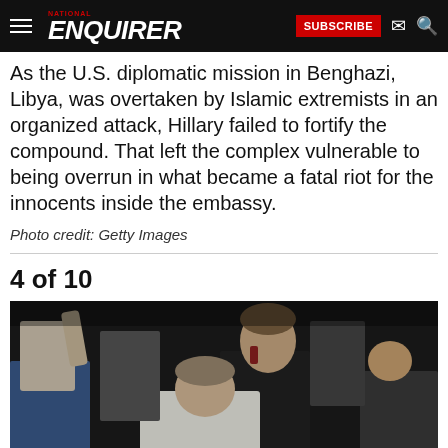NATIONAL ENQUIRER — SUBSCRIBE
As the U.S. diplomatic mission in Benghazi, Libya, was overtaken by Islamic extremists in an organized attack, Hillary failed to fortify the compound. That left the complex vulnerable to being overrun in what became a fatal riot for the innocents inside the embassy.
Photo credit: Getty Images
4 of 10
[Figure (photo): Nighttime crowd scene showing people in a chaotic situation, with a man in a white shirt visible among the crowd.]